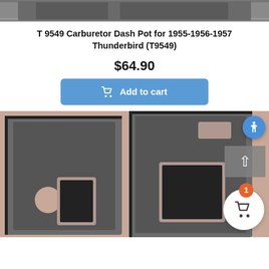[Figure (photo): Top portion of a product photo (cropped), showing a dark automotive part against a gray background.]
T 9549 Carburetor Dash Pot for 1955-1956-1957 Thunderbird (T9549)
$64.90
[Figure (other): Blue 'Add to cart' button with shopping cart icon]
[Figure (photo): Product photo showing two dark gray foam/felt carburetor dash pot insulation panels laid flat, with cutouts and openings visible. Accessibility icon (blue circle with person) top right. Scroll-up button (gray). Cart icon with badge showing 1 item at bottom right.]